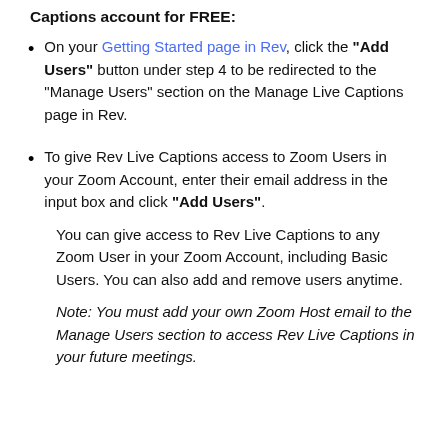Captions account for FREE:
On your Getting Started page in Rev, click the "Add Users" button under step 4 to be redirected to the "Manage Users" section on the Manage Live Captions page in Rev.
To give Rev Live Captions access to Zoom Users in your Zoom Account, enter their email address in the input box and click "Add Users".
You can give access to Rev Live Captions to any Zoom User in your Zoom Account, including Basic Users. You can also add and remove users anytime.
Note: You must add your own Zoom Host email to the Manage Users section to access Rev Live Captions in your future meetings.